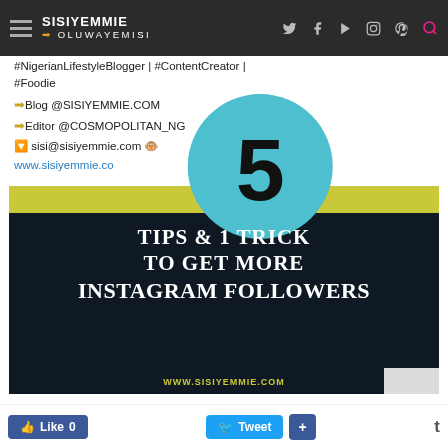SISIYEMMIE | OLUWAYEMISI — navigation bar with social icons
#NigerianLifestyleBlogger | #ContentCreator | #Foodie
➡Blog @SISIYEMMIE.COM
➡Editor @COSMOPOLITAN_NG
🔽 sisi@sisiyemmie.com 🐵
www.sisiyemmie.com
[Figure (infographic): Dark background graphic with teal circle badge showing '5', yellow bar, and white text reading '5 TIPS & 1 TRICK TO GET MORE INSTAGRAM FOLLOWERS' with watermark www.sisiyemmie.com]
Like 0   Tweet   +   t